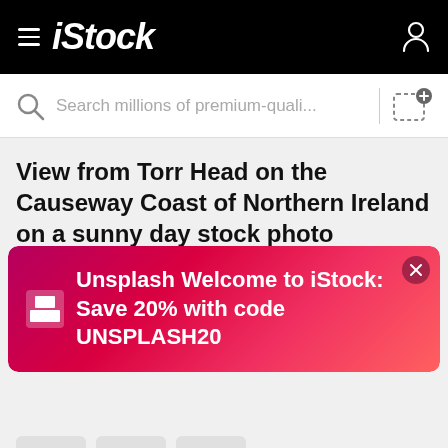iStock
Search millions of premium-quali...
View from Torr Head on the Causeway Coast of Northern Ireland on a sunny day stock photo
[Figure (infographic): Unsplash promo banner: Welcome to iStock: Save 20% with code UNSPLASH20]
$12 | 1 credit
Continue with purchase